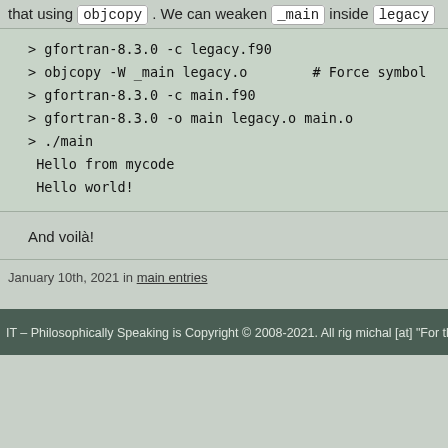that using objcopy . We can weaken _main inside legacy
> gfortran-8.3.0 -c legacy.f90
> objcopy -W _main legacy.o        # Force symbol
> gfortran-8.3.0 -c main.f90
> gfortran-8.3.0 -o main legacy.o main.o
> ./main
 Hello from mycode
 Hello world!
And voilà!
January 10th, 2021 in main entries
IT – Philosophically Speaking is
Copyright © 2008-2021. All rig
michal [at]
"For the things we have to learn before we ca
This website may use cookies to improve yo